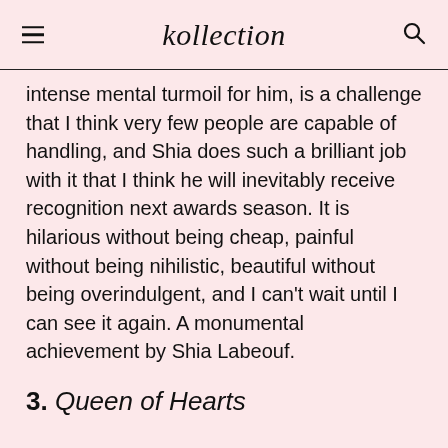kollection
intense mental turmoil for him, is a challenge that I think very few people are capable of handling, and Shia does such a brilliant job with it that I think he will inevitably receive recognition next awards season. It is hilarious without being cheap, painful without being nihilistic, beautiful without being overindulgent, and I can't wait until I can see it again. A monumental achievement by Shia Labeouf.
3. Queen of Hearts
Director: May el-Touhky